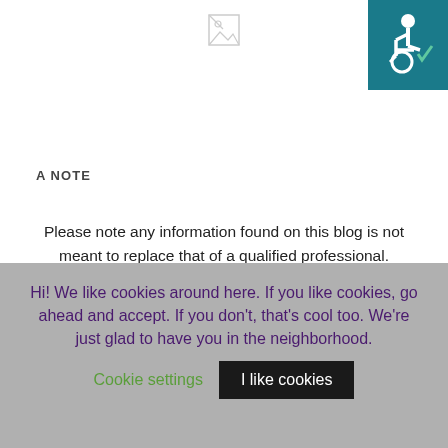[Figure (logo): Broken image placeholder centered at top of page]
[Figure (illustration): Accessibility wheelchair icon, white on teal/dark cyan background, top right corner]
A NOTE
Please note any information found on this blog is not meant to replace that of a qualified professional. We encourage partnership with your physician, psychiatrist, and therapist in the treatment of mood disorder. The information found here is educational and anecdotal and should be reviewed with a professional prior to implementation.
BLOG WITH INTEGRITY
Hi! We like cookies around here. If you like cookies, go ahead and accept. If you don't, that's cool too. We're just glad to have you in the neighborhood.